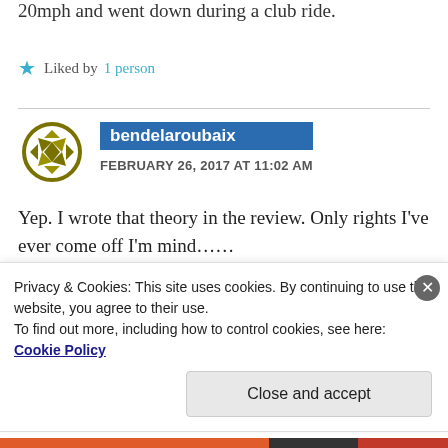20mph and went down during a club ride.
Liked by 1 person
bendelaroubaix
FEBRUARY 26, 2017 AT 11:02 AM
Yep. I wrote that theory in the review. Only rights I've ever come off I'm mind......
Privacy & Cookies: This site uses cookies. By continuing to use this website, you agree to their use. To find out more, including how to control cookies, see here: Cookie Policy
Close and accept